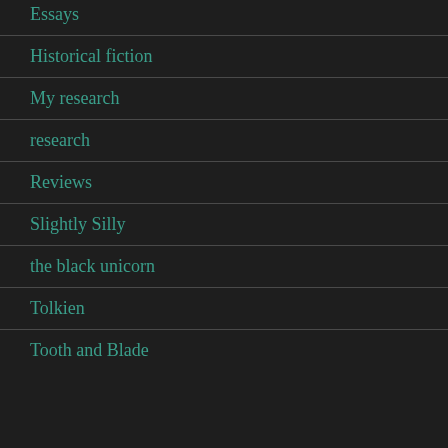Essays
Historical fiction
My research
research
Reviews
Slightly Silly
the black unicorn
Tolkien
Tooth and Blade